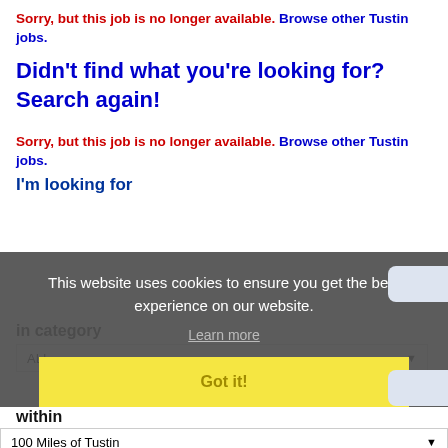Sorry, but this job is no longer available. Browse other Tustin jobs.
Didn't find what you're looking for? Search again!
Sorry, but this job is no longer available. Browse other Tustin jobs.
I'm looking for
This website uses cookies to ensure you get the best experience on our website.
Learn more
Got it!
in category
ALL
within
100 Miles of Tustin